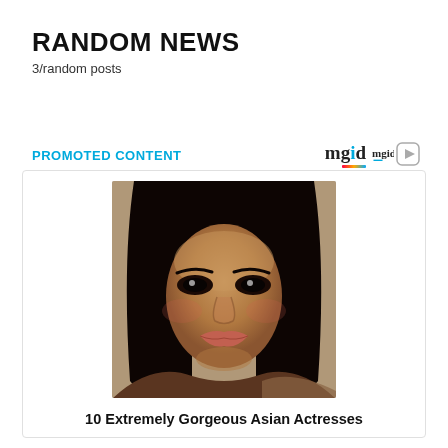RANDOM NEWS
3/random posts
PROMOTED CONTENT
[Figure (logo): mgid logo with play button icon]
[Figure (photo): Close-up portrait photo of a woman with long dark hair and dark eyes]
10 Extremely Gorgeous Asian Actresses